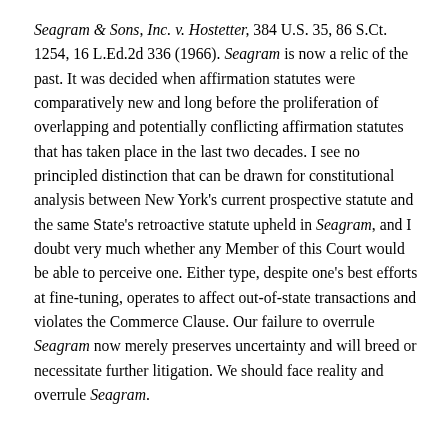Seagram & Sons, Inc. v. Hostetter, 384 U.S. 35, 86 S.Ct. 1254, 16 L.Ed.2d 336 (1966). Seagram is now a relic of the past. It was decided when affirmation statutes were comparatively new and long before the proliferation of overlapping and potentially conflicting affirmation statutes that has taken place in the last two decades. I see no principled distinction that can be drawn for constitutional analysis between New York's current prospective statute and the same State's retroactive statute upheld in Seagram, and I doubt very much whether any Member of this Court would be able to perceive one. Either type, despite one's best efforts at fine-tuning, operates to affect out-of-state transactions and violates the Commerce Clause. Our failure to overrule Seagram now merely preserves uncertainty and will breed or necessitate further litigation. We should face reality and overrule Seagram.